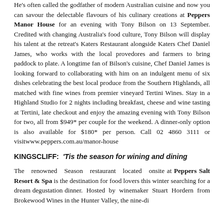He's often called the godfather of modern Australian cuisine and now you can savour the delectable flavours of his culinary creations at Peppers Manor House for an evening with Tony Bilson on 13 September. Credited with changing Australia's food culture, Tony Bilson will display his talent at the retreat's Katers Restaurant alongside Katers Chef Daniel James, who works with the local provedores and farmers to bring paddock to plate. A longtime fan of Bilson's cuisine, Chef Daniel James is looking forward to collaborating with him on an indulgent menu of six dishes celebrating the best local produce from the Southern Highlands, all matched with fine wines from premier vineyard Tertini Wines. Stay in a Highland Studio for 2 nights including breakfast, cheese and wine tasting at Tertini, late checkout and enjoy the amazing evening with Tony Bilson for two, all from $949* per couple for the weekend. A dinner-only option is also available for $180* per person. Call 02 4860 3111 or visitwww.peppers.com.au/manor-house
KINGSCLIFF:  'Tis the season for wining and dining
The renowned Season restaurant located onsite at Peppers Salt Resort & Spa is the destination for food lovers this winter searching for a dream degustation dinner. Hosted by winemaker Stuart Hordern from Brokewood Wines in the Hunter Valley, the nine...